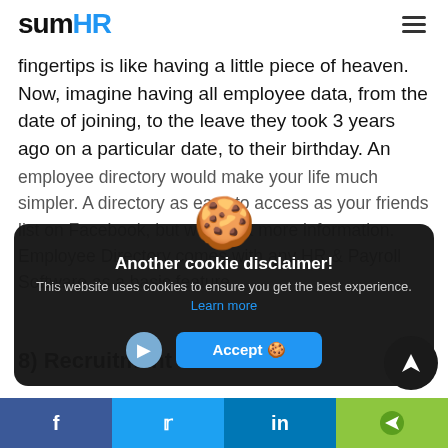sumHR
fingertips is like having a little piece of heaven. Now, imagine having all employee data, from the date of joining, to the leave they took 3 years ago on a particular date, to their birthday. An employee directory would make your life much simpler. A directory as easy to access as your friends list on Facebook, but with a lot more information. Employee Directory comes with any HR & Payroll Software as a basic feature.
Another cookie disclaimer!
This website uses cookies to ensure you get the best experience. Learn more
8) Recruitment
f  Twitter  in  share